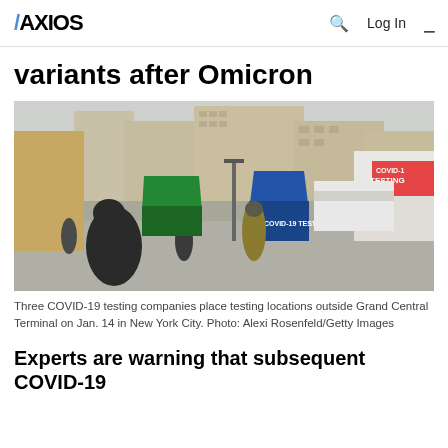AXIOS   Q   Log In   ≡
variants after Omicron
[Figure (photo): Street scene outside Grand Central Terminal in New York City showing three COVID-19 testing booths/tents with signage, pedestrians walking past, city buildings in background, winter conditions.]
Three COVID-19 testing companies place testing locations outside Grand Central Terminal on Jan. 14 in New York City. Photo: Alexi Rosenfeld/Getty Images
Experts are warning that subsequent COVID-19